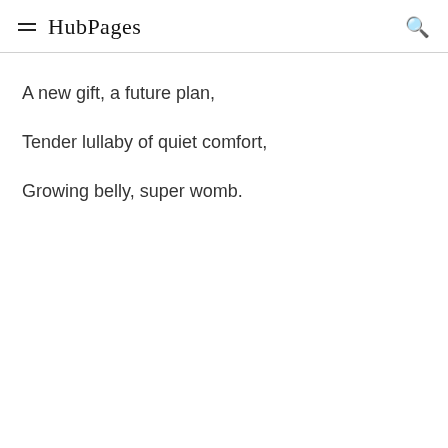HubPages
A new gift, a future plan,
Tender lullaby of quiet comfort,
Growing belly, super womb.